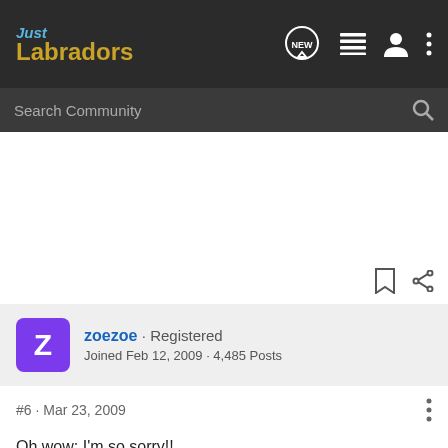Just Labradors
Search Community
zoezoe · Registered
Joined Feb 12, 2009 · 4,485 Posts
#6 · Mar 23, 2009
Oh wow; I'm so sorry!!